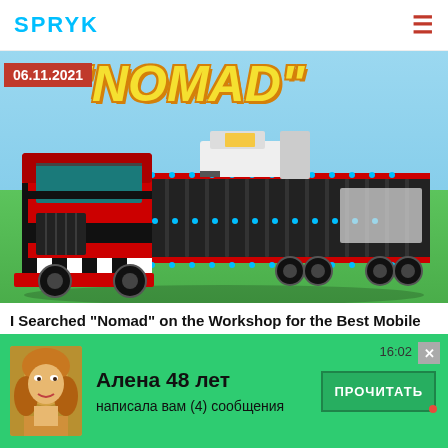SPRYK
[Figure (screenshot): Video thumbnail showing a large red and black blocky truck (Scrap Mechanic game vehicle) with the word NOMAD in yellow italic text at the top. Date badge '06.11.2021' in red on the left. Background is sky blue and green grass.]
I Searched "Nomad" on the Workshop for the Best Mobile Bases! - Scrap Mechanic Gameplay
ScrapMan
[Figure (infographic): Ad overlay banner in green background showing a photo of a blonde woman (Алена), ad text 'Алена 48 лет написала вам (4) сообщения' and a button 'ПРОЧИТАТЬ'. Time stamp 16:02 and close button shown.]